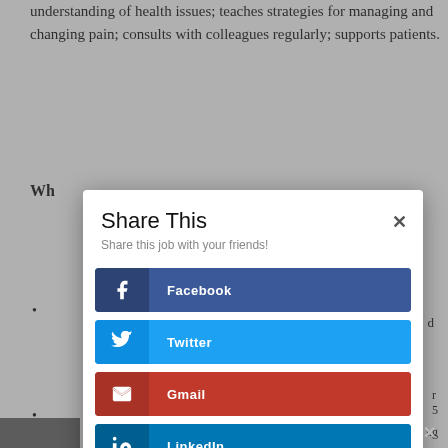understanding of health issues; teaches strategies for managing and changing pain; consults with colleagues regularly; supports patients.
Wh
•
•
•
[Figure (screenshot): Share This modal dialog overlay with social sharing buttons: Facebook (dark blue), Twitter (light blue), Gmail (red), LinkedIn (medium blue), Print (green). Modal has title 'Share This', subtitle 'Share this job with your friends!', and a close (×) button in the top right.]